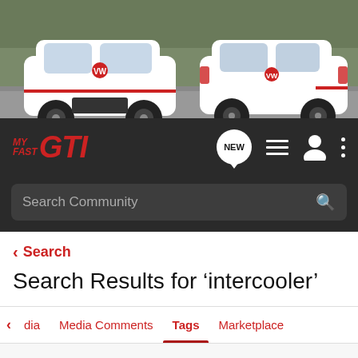[Figure (photo): Two white Volkswagen GTI cars photographed outdoors, one facing front-left and one facing rear-right, on a road with green grass in background]
[Figure (logo): MyFastGTI logo in red italic bold text, with navigation icons: NEW speech bubble, list icon, user icon, dots icon]
Search Community
< Search
Search Results for ‘intercooler’
dia  Media Comments  Tags  Marketplace
Search Tags
intercooler  Search